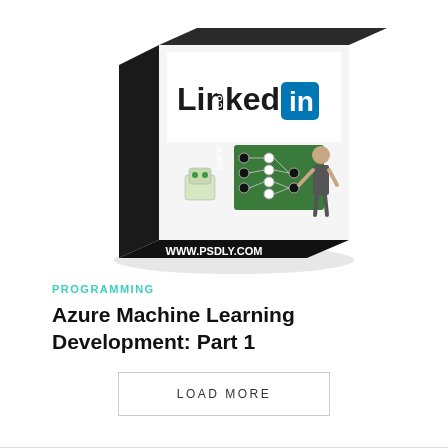[Figure (illustration): 3D product box with LinkedIn logo on top, showing a robot and a person pointing at a neural network diagram on a green board. The box spine and bottom read WWW.PSDLY.COM in white text on black background.]
PROGRAMMING
Azure Machine Learning Development: Part 1
LOAD MORE